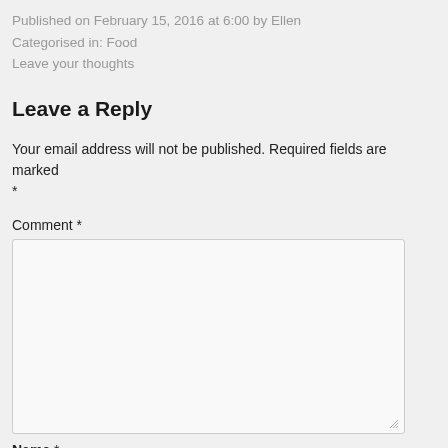Published on February 15, 2016 at 6:00 by Ellen
Categorised in: Food
Leave your thoughts
Leave a Reply
Your email address will not be published. Required fields are marked *
Comment *
Name *